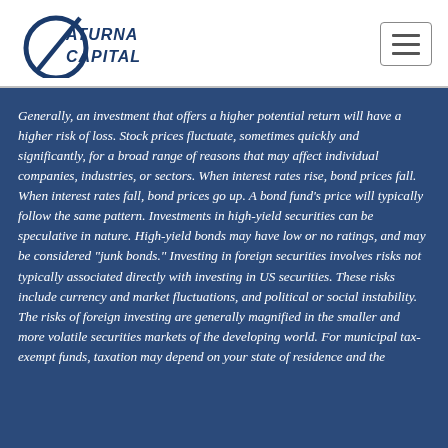Saturna Capital
Generally, an investment that offers a higher potential return will have a higher risk of loss. Stock prices fluctuate, sometimes quickly and significantly, for a broad range of reasons that may affect individual companies, industries, or sectors. When interest rates rise, bond prices fall. When interest rates fall, bond prices go up. A bond fund's price will typically follow the same pattern. Investments in high-yield securities can be speculative in nature. High-yield bonds may have low or no ratings, and may be considered "junk bonds." Investing in foreign securities involves risks not typically associated directly with investing in US securities. These risks include currency and market fluctuations, and political or social instability. The risks of foreign investing are generally magnified in the smaller and more volatile securities markets of the developing world. For municipal tax-exempt funds, taxation may depend on your state of residence and the